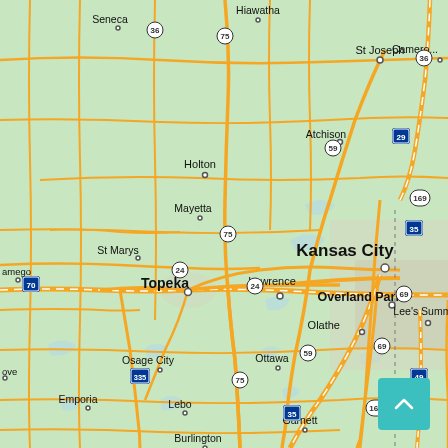[Figure (map): Road map of northeastern Kansas and Kansas City metro area, showing cities including Kansas City, Topeka, Overland Park, Lawrence, Olathe, Lee's Summit, St Joseph, Atchison, Holton, Mayetta, St Marys, Osage City, Ottawa, Emporia, Lebo, Burlington, Garnett, Seneca, Hiawatha. Interstate and US highway shields visible (70, 75, 35, 29, 169, 24, 59, 335, 49, 36, 69). Map background is light green with yellow/orange road network. A teal/cyan scroll-to-top button appears in the bottom right corner.]